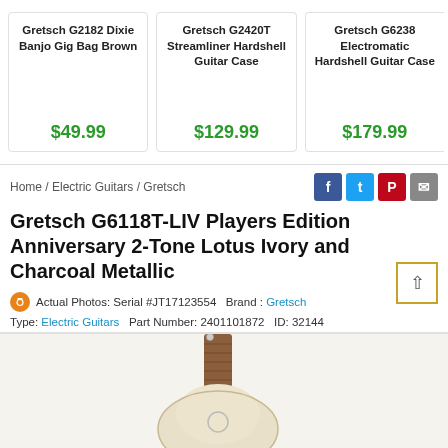Gretsch G2182 Dixie Banjo Gig Bag Brown — $49.99
Gretsch G2420T Streamliner Hardshell Guitar Case — $129.99
Gretsch G6238 Electromatic Hardshell Guitar Case — $179.99
Home / Electric Guitars / Gretsch
Gretsch G6118T-LIV Players Edition Anniversary 2-Tone Lotus Ivory and Charcoal Metallic
Actual Photos: Serial #JT17123554   Brand: Gretsch
Type: Electric Guitars   Part Number: 2401101872   ID: 32144
[Figure (photo): Gretsch G6118T-LIV guitar body showing ivory and charcoal finish with wood fretboard]